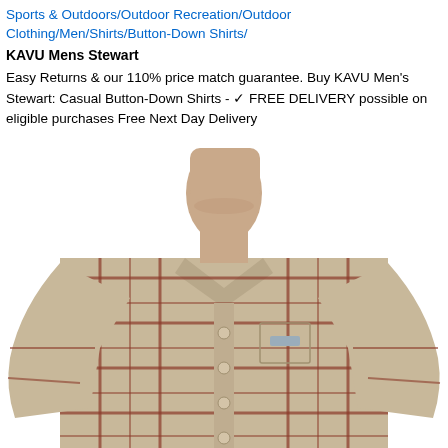Sports & Outdoors/Outdoor Recreation/Outdoor Clothing/Men/Shirts/Button-Down Shirts/
KAVU Mens Stewart
Easy Returns & our 110% price match guarantee. Buy KAVU Men's Stewart: Casual Button-Down Shirts - ✓ FREE DELIVERY possible on eligible purchases Free Next Day Delivery
[Figure (photo): Man wearing a plaid button-down shirt (KAVU Men's Stewart), long-sleeved with rust/orange and tan plaid pattern, shown from shoulders up with face partially visible.]